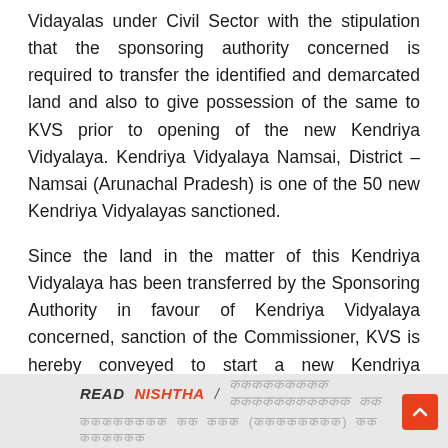Vidayalas under Civil Sector with the stipulation that the sponsoring authority concerned is required to transfer the identified and demarcated land and also to give possession of the same to KVS prior to opening of the new Kendriya Vidyalaya. Kendriya Vidyalaya Namsai, District – Namsai (Arunachal Pradesh) is one of the 50 new Kendriya Vidyalayas sanctioned.
Since the land in the matter of this Kendriya Vidyalaya has been transferred by the Sponsoring Authority in favour of Kendriya Vidyalaya concerned, sanction of the Commissioner, KVS is hereby conveyed to start a new Kendriya Vidyalaya under Civil Sector with immediate effect, at the following location:-
READ NISHTHA / [Hindi text]